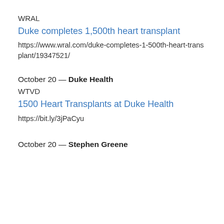WRAL
Duke completes 1,500th heart transplant
https://www.wral.com/duke-completes-1-500th-heart-transplant/19347521/
October 20 — Duke Health
WTVD
1500 Heart Transplants at Duke Health
https://bit.ly/3jPaCyu
October 20 — Stephen Greene